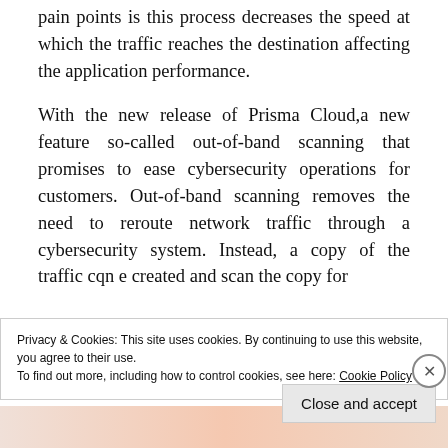pain points is this process decreases the speed at which the traffic reaches the destination affecting the application performance.
With the new release of Prisma Cloud,a new feature so-called out-of-band scanning that promises to ease cybersecurity operations for customers. Out-of-band scanning removes the need to reroute network traffic through a cybersecurity system. Instead, a copy of the traffic cqn e created and scan the copy for
Privacy & Cookies: This site uses cookies. By continuing to use this website, you agree to their use.
To find out more, including how to control cookies, see here: Cookie Policy
Close and accept